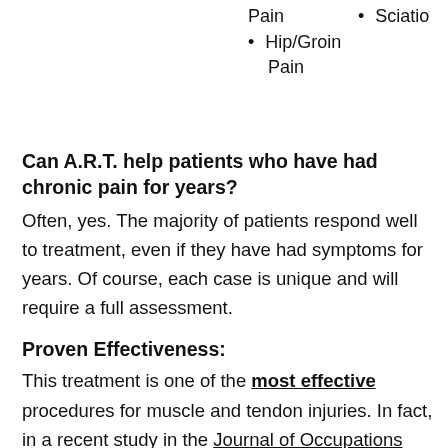Pain
Sciatio
Hip/Groin Pain
Can A.R.T. help patients who have had chronic pain for years?
Often, yes. The majority of patients respond well to treatment, even if they have had symptoms for years. Of course, each case is unique and will require a full assessment.
Proven Effectiveness:
This treatment is one of the most effective procedures for muscle and tendon injuries. In fact, in a recent study in the Journal of Occupations Rehabilitation, A.R.T. had a success rate that was higher than conventional